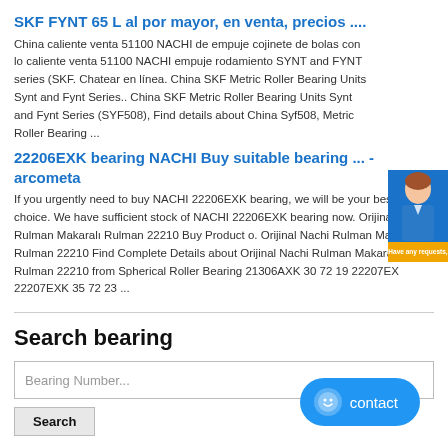SKF FYNT 65 L al por mayor, en venta, precios ....
China caliente venta 51100 NACHI de empuje cojinete de bolas con lo caliente venta 51100 NACHI empuje rodamiento SYNT and FYNT series (SKF. Chatear en línea. China SKF Metric Roller Bearing Units Synt and Fynt Series.. China SKF Metric Roller Bearing Units Synt and Fynt Series (SYF508), Find details about China Syf508, Metric Roller Bearing ...
22206EXK bearing NACHI Buy suitable bearing ... - arcometa
If you urgently need to buy NACHI 22206EXK bearing, we will be your best choice. We have sufficient stock of NACHI 22206EXK bearing now. Orijinal Nachi Rulman Makaralı Rulman 22210 Buy Product o. Orijinal Nachi Rulman Makaralı Rulman 22210 Find Complete Details about Orijinal Nachi Rulman Makaralı Rulman 22210 from Spherical Roller Bearing 21306AXK 30 72 19 22207EX 22207EXK 35 72 23 ...
Search bearing
Bearing Number...
Search